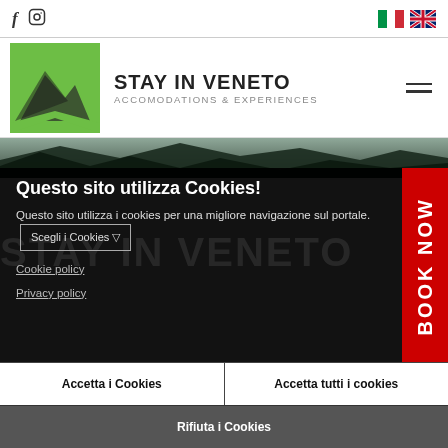[Figure (screenshot): Social media icons (Facebook f and Instagram logo) in top-left, Italian and UK flags in top-right]
[Figure (logo): Stay in Veneto logo — green square with mountain silhouette, text STAY IN VENETO ACCOMODATIONS & EXPERIENCES, hamburger menu icon]
[Figure (photo): Narrow hero landscape photo strip showing dark mountains and sky]
Questo sito utilizza Cookies!
Questo sito utilizza i cookies per una migliore navigazione sul portale. Scegli i Cookies ▽
Cookie policy
Privacy policy
[Figure (other): Red vertical BOOK NOW sidebar button]
Accetta i Cookies
Accetta tutti i cookies
Rifiuta i Cookies